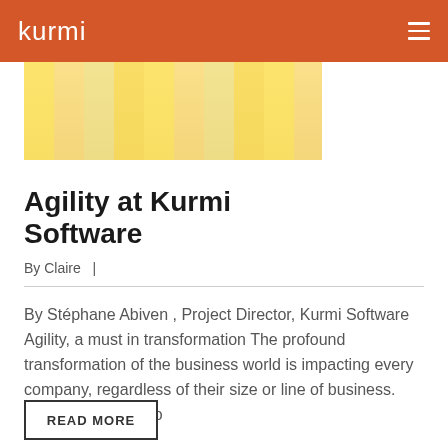kurmi
[Figure (photo): Partial view of sticky notes (yellow) on a board/wall, blurred background, agile/project management theme]
Agility at Kurmi Software
By Claire  |
By Stéphane Abiven , Project Director, Kurmi Software Agility, a must in transformation The profound transformation of the business world is impacting every company, regardless of their size or line of business. Companies need to
READ MORE